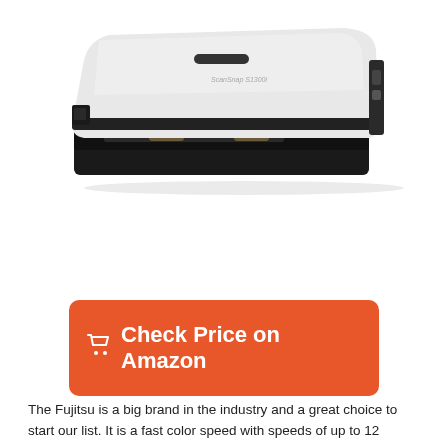[Figure (photo): A Fujitsu portable document scanner, white and black in color, shown in a three-quarter perspective view with paper feed slot visible at the front.]
Check Price on Amazon
The Fujitsu is a big brand in the industry and a great choice to start our list. It is a fast color speed with speeds of up to 12...